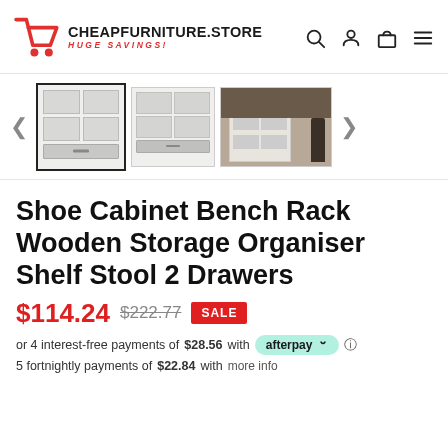CHEAPFURNITURE.STORE – HUGE SAVINGS!
[Figure (screenshot): Product thumbnail carousel showing three views of a white wooden shoe cabinet bench rack with shelves and drawers. Navigation arrows on left and right. First thumbnail is selected (bordered).]
Shoe Cabinet Bench Rack Wooden Storage Organiser Shelf Stool 2 Drawers
$114.24  $222.77  SALE
or 4 interest-free payments of $28.56 with afterpay
5 fortnightly payments of $22.84 with  more info